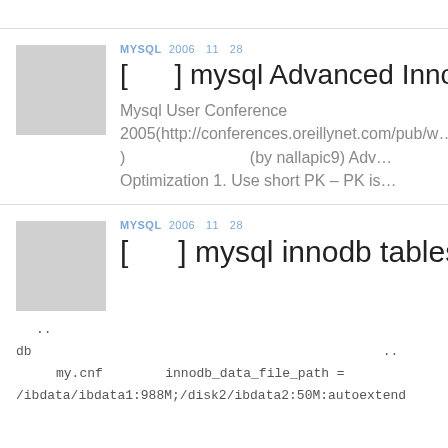MYSQL 2006 11 28
[ ] mysql Advanced InnoDB Op…
Mysql User Conference 2005(http://conferences.oreillynet.com/pub/w…) (by nallapic9) Adv… Optimization 1. Use short PK – PK is…
MYSQL 2006 11 28
[ ] mysql innodb tablespace
.. db                                          ..
my.cnf       innodb_data_file_path =
/ibdata/ibdata1:988M;/disk2/ibdata2:50M:autoextend